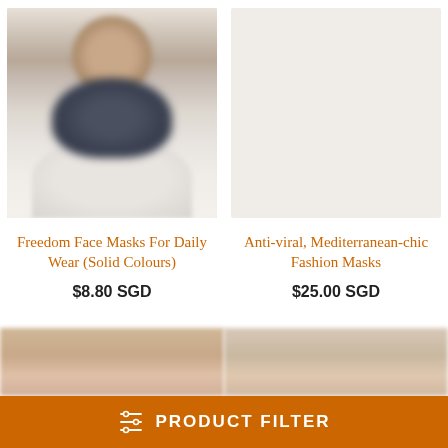[Figure (photo): Blurred photo of person wearing a dark navy face mask, white background]
Freedom Face Masks For Daily Wear (Solid Colours)
$8.80 SGD
Anti-viral, Mediterranean-chic Fashion Masks
$25.00 SGD
[Figure (photo): Partially visible blurred photo of person, cropped at bottom of page]
[Figure (photo): Partially visible blurred photo of person, cropped at bottom of page]
PRODUCT FILTER